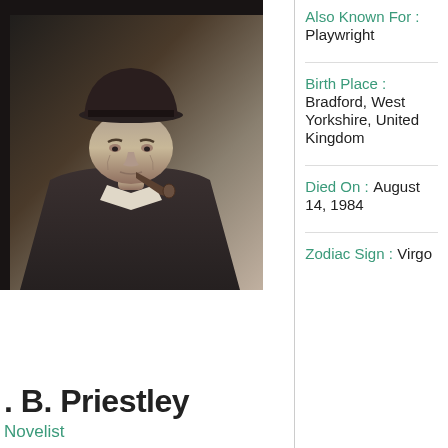[Figure (photo): Black and white photograph of J. B. Priestley, an elderly man wearing a wide-brimmed hat and smoking a pipe, looking to the side.]
Also Known For : Playwright
Birth Place : Bradford, West Yorkshire, United Kingdom
Died On : August 14, 1984
Zodiac Sign : Virgo
J. B. Priestley
Novelist